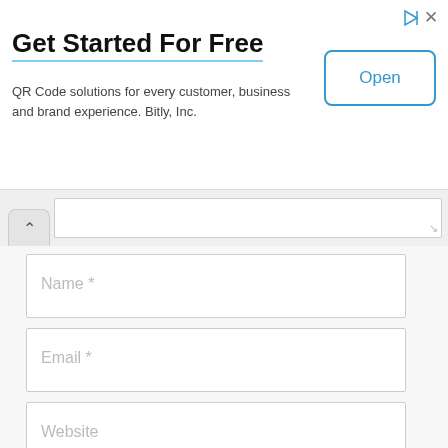Get Started For Free
QR Code solutions for every customer, business and brand experience. Bitly, Inc.
[Figure (screenshot): Ad banner with Open button]
[Figure (screenshot): Comment form area with textarea, name, email, website fields, checkbox and post comment button]
Name *
Email *
Website
Save my name, email, and website in this browser for the next time I comment.
POST COMMENT